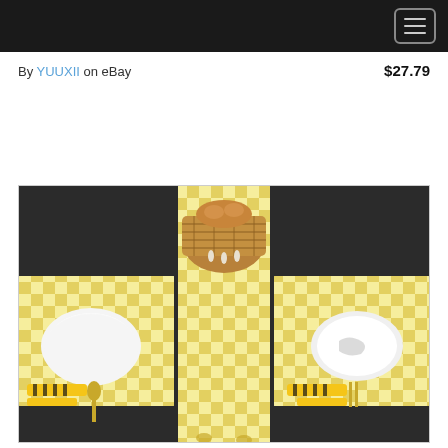Navigation bar with hamburger menu
By YUUXII on eBay   $27.79
[Figure (photo): Product photo of a yellow and white buffalo check/gingham plaid table runner with matching placemats set on a dark dining table. A wicker basket with food is in the center, flanked by a clock, stacked white plates, decorative bee-themed cutlery holders, a glass of water, and plates with utensils.]